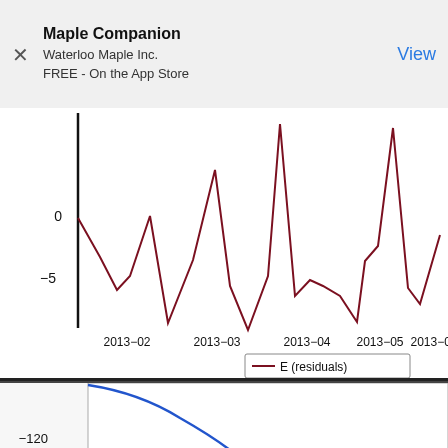[Figure (infographic): App store advertisement banner for Maple Companion by Waterloo Maple Inc., FREE on the App Store, with a View button]
[Figure (line-chart): E (residuals)]
[Figure (line-chart): Partial view of a second chart at the bottom of the page showing a blue downward curve, y-axis label partially showing -120]